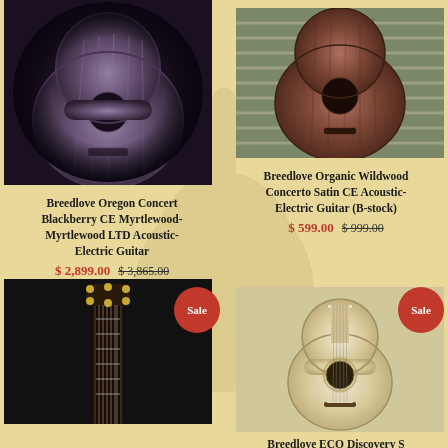[Figure (photo): Breedlove Oregon Concert Blackberry CE Myrtlewood guitar body, purple/violet finish, viewed from front on dark background]
Breedlove Oregon Concert Blackberry CE Myrtlewood-Myrtlewood LTD Acoustic-Electric Guitar
$ 2,899.00 $ 3,865.00
[Figure (photo): Breedlove Organic Wildwood Concerto Satin CE Acoustic-Electric guitar body, reddish-brown wood finish, on slatwall background]
Breedlove Organic Wildwood Concerto Satin CE Acoustic-Electric Guitar (B-stock)
$ 599.00 $ 999.00
[Figure (photo): Guitar headstock and neck viewed from behind, dark background, with Sale badge]
[Figure (photo): Breedlove ECO Discovery S acoustic guitar, natural/light finish, full body view, with Sale badge]
Breedlove ECO Discovery S